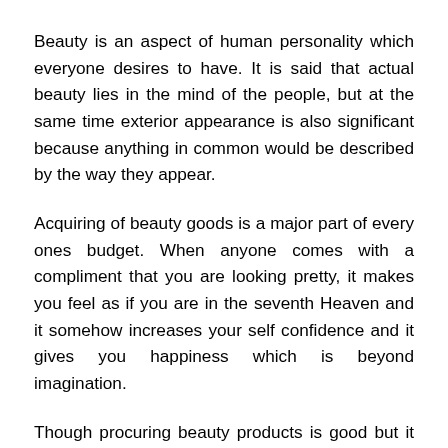Beauty is an aspect of human personality which everyone desires to have. It is said that actual beauty lies in the mind of the people, but at the same time exterior appearance is also significant because anything in common would be described by the way they appear.
Acquiring of beauty goods is a major part of every ones budget. When anyone comes with a compliment that you are looking pretty, it makes you feel as if you are in the seventh Heaven and it somehow increases your self confidence and it gives you happiness which is beyond imagination.
Though procuring beauty products is good but it will be excellent if you follow more of natural products to sustain that Natural Beauty. It is much wiser to use home-based products as an alternative for using products made from chemicals, and they help you to maintain the Natural Beauty and are devoid of